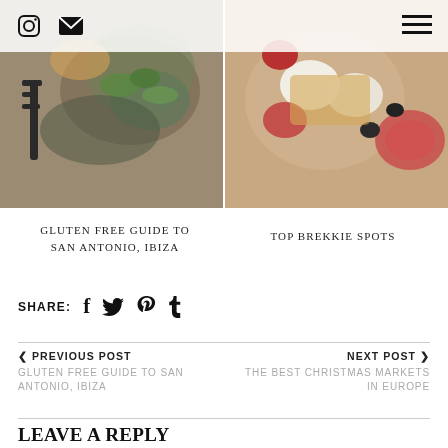Instagram | Email | Menu
[Figure (photo): Food photo - gluten free dishes, fork and herbs visible]
[Figure (photo): Breakfast food photo - eggs, tomatoes, sauce]
GLUTEN FREE GUIDE TO SAN ANTONIO, IBIZA
TOP BREKKIE SPOTS
SHARE: f t p t
< PREVIOUS POST
GLUTEN FREE GUIDE TO SAN ANTONIO, IBIZA
NEXT POST >
THE BEST CHRISTMAS MARKETS IN EUROPE
LEAVE A REPLY
Your email address will not be published. Required fields are marked *
Comment *